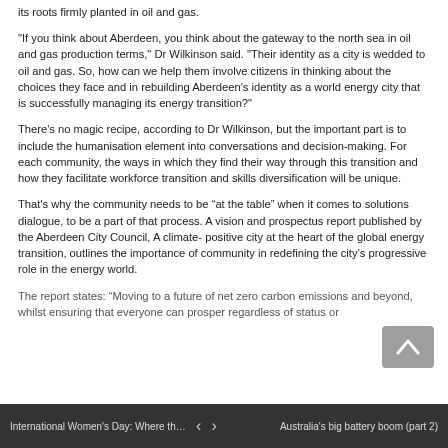its roots firmly planted in oil and gas.
"If you think about Aberdeen, you think about the gateway to the north sea in oil and gas production terms," Dr Wilkinson said. "Their identity as a city is wedded to oil and gas. So, how can we help them involve citizens in thinking about the choices they face and in rebuilding Aberdeen's identity as a world energy city that is successfully managing its energy transition?"
There's no magic recipe, according to Dr Wilkinson, but the important part is to include the humanisation element into conversations and decision-making. For each community, the ways in which they find their way through this transition and how they facilitate workforce transition and skills diversification will be unique.
That's why the community needs to be “at the table” when it comes to solutions dialogue, to be a part of that process. A vision and prospectus report published by the Aberdeen City Council, A climate- positive city at the heart of the global energy transition, outlines the importance of community in redefining the city’s progressive role in the energy world.
The report states: “Moving to a future of net zero carbon emissions and beyond, whilst ensuring that everyone can prosper regardless of status or
International Women's Day: Where the in...     ‹  ›     Australia's big battery boom (part 2)